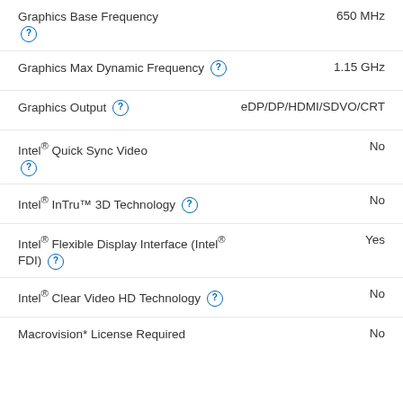Graphics Base Frequency	650 MHz
Graphics Max Dynamic Frequency	1.15 GHz
Graphics Output	eDP/DP/HDMI/SDVO/CRT
Intel® Quick Sync Video	No
Intel® InTru™ 3D Technology	No
Intel® Flexible Display Interface (Intel® FDI)	Yes
Intel® Clear Video HD Technology	No
Macrovision* License Required	No